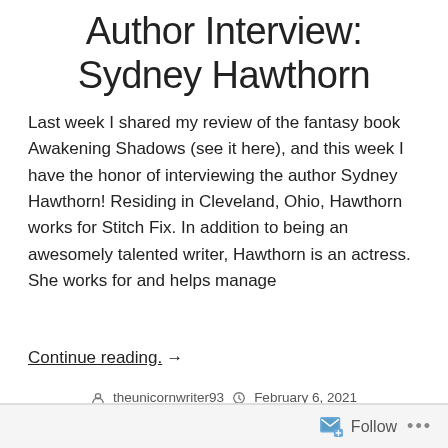Author Interview: Sydney Hawthorn
Last week I shared my review of the fantasy book Awakening Shadows (see it here), and this week I have the honor of interviewing the author Sydney Hawthorn! Residing in Cleveland, Ohio, Hawthorn works for Stitch Fix. In addition to being an awesomely talented writer, Hawthorn is an actress. She works for and helps manage
Continue reading. →
theunicornwriter93   February 6, 2021   Author Interview   Author Interview, Authors, fantasy, Fantasy Fiction, fiction,